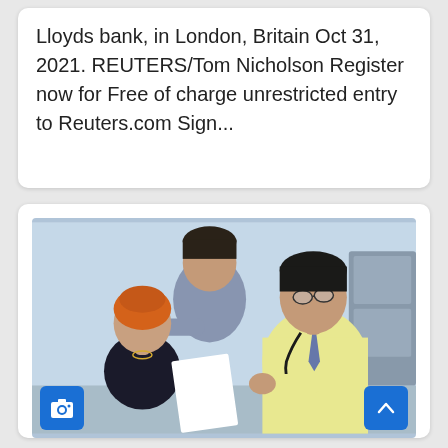Lloyds bank, in London, Britain Oct 31, 2021. REUTERS/Tom Nicholson Register now for Free of charge unrestricted entry to Reuters.com Sign...
[Figure (photo): A doctor in a yellow coat with a stethoscope reviews papers with a cancer patient wearing an orange head covering and a man (likely a family member) behind her, in a clinical setting.]